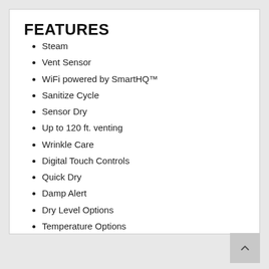FEATURES
Steam
Vent Sensor
WiFi powered by SmartHQ™
Sanitize Cycle
Sensor Dry
Up to 120 ft. venting
Wrinkle Care
Digital Touch Controls
Quick Dry
Damp Alert
Dry Level Options
Temperature Options